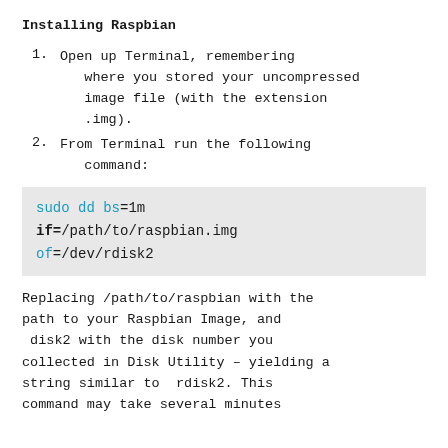Installing Raspbian
Open up Terminal, remembering where you stored your uncompressed image file (with the extension .img).
From Terminal run the following command:
sudo dd bs=1m
if=/path/to/raspbian.img
of=/dev/rdisk2
Replacing /path/to/raspbian with the path to your Raspbian Image, and disk2 with the disk number you collected in Disk Utility – yielding a string similar to rdisk2. This command may take several minutes